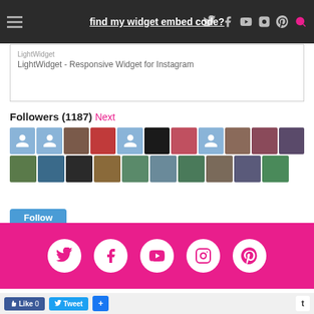find my widget embed code?
LightWidget - Responsive Widget for Instagram
Followers (1187) Next
[Figure (screenshot): Grid of follower avatar thumbnails, two rows of 10, mix of blue placeholder icons and real profile photos]
Follow
[Figure (infographic): Pink social media bar with white circular icons for Twitter, Facebook, YouTube, Instagram, Pinterest]
© 2015 SISIYEMMIE: Nigerian Food & Lifestyle Blog · Eliv...
Like 0   Tweet   +   t